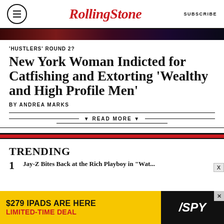Rolling Stone | SUBSCRIBE
'HUSTLERS' ROUND 2?
New York Woman Indicted for Catfishing and Extorting ‘Wealthy and High Profile Men’
BY ANDREA MARKS
READ MORE
TRENDING
1. Jay-Z Bites Back at the Rich Playboy in “Wat...
[Figure (other): Advertisement banner: $279 IPADS ARE HERE LIMITED-TIME DEAL - SPY]